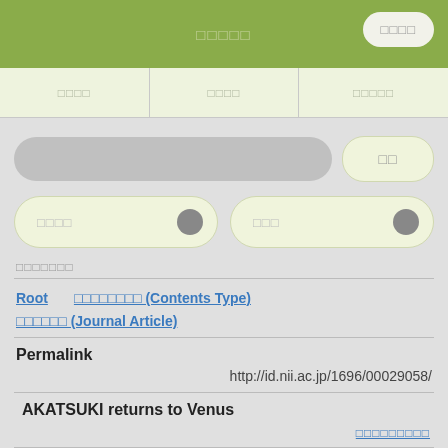□□□□□
□□□□
□□□□
□□□□□
□□□□□□□
□□
□□□□
□□□
□□□□□□□
Root   □□□□□□□□ (Contents Type)   □□□□□□ (Journal Article)
Permalink
http://id.nii.ac.jp/1696/00029058/
AKATSUKI returns to Venus
□□□□□□□□□